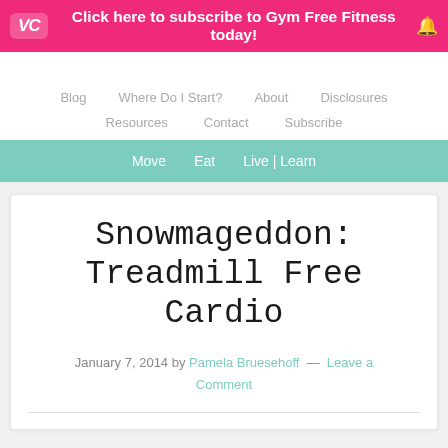Click here to subscribe to Gym Free Fitness today!
Blog   Where Do I Start?   About   Disclosures
Resources   Contact   Subscribe
Move   Eat   Live | Learn
Snowmageddon: Treadmill Free Cardio
January 7, 2014 by Pamela Bruesehoff — Leave a Comment